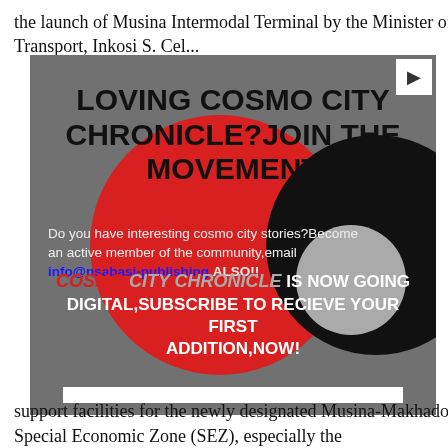the launch of Musina Intermodal Terminal by the Minister of Transport, Inkosi S. Cel...
[Figure (infographic): Advertisement banner for Cosmo City Chronicle on a dark grey background with red and black circle graphics. Title reads 'LOVING COSMO CITY CHRONICLE? JOIN THE MOVEMENT'. Body text invites readers to email info@nsabasi-publishing. Bottom banner promotes digital subscription with 'COSMO CITY CHRONICLE IS NOW GOING DIGITAL, SUBSCRIBE TO RECIEVE YOUR FIRST ADDITION, NOW!']
support facilities for the newly designated Musina-Makhado Special Economic Zone (SEZ), especially the